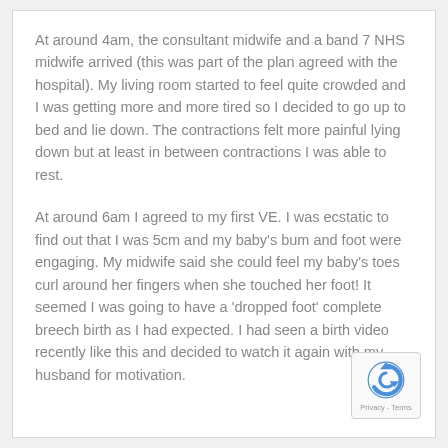At around 4am, the consultant midwife and a band 7 NHS midwife arrived (this was part of the plan agreed with the hospital). My living room started to feel quite crowded and I was getting more and more tired so I decided to go up to bed and lie down. The contractions felt more painful lying down but at least in between contractions I was able to rest.
At around 6am I agreed to my first VE. I was ecstatic to find out that I was 5cm and my baby's bum and foot were engaging. My midwife said she could feel my baby's toes curl around her fingers when she touched her foot! It seemed I was going to have a 'dropped foot' complete breech birth as I had expected. I had seen a birth video recently like this and decided to watch it again with my husband for motivation.
[Figure (logo): reCAPTCHA badge with blue logo icon and 'Privacy - Terms' text]